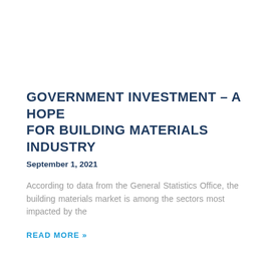GOVERNMENT INVESTMENT – A HOPE FOR BUILDING MATERIALS INDUSTRY
September 1, 2021
According to data from the General Statistics Office, the building materials market is among the sectors most impacted by the
READ MORE »